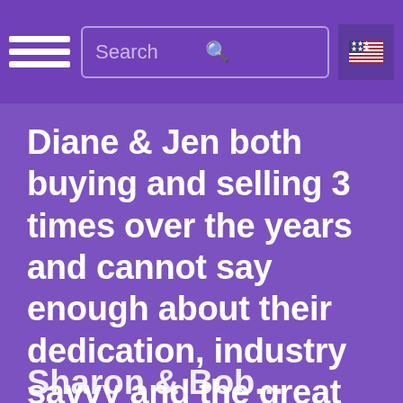Search
Diane & Jen both buying and selling 3 times over the years and cannot say enough about their dedication, industry savvy and the great team they have supporting them. "
Sharon & Bob...